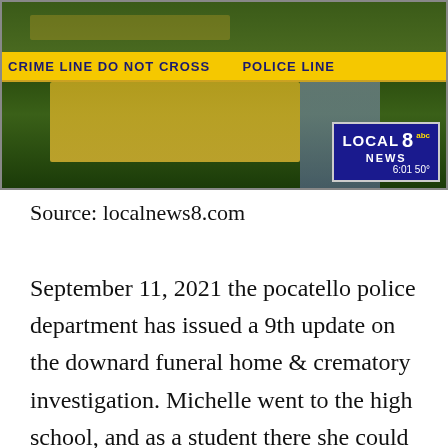[Figure (screenshot): Local news broadcast screenshot showing a yellow house with crime scene tape and 'LOCAL 8 NEWS abc' bug overlay at 6:01 50°. Crime tape reads 'CRIME LINE DO NOT CROSS POLICE LINE']
Source: localnews8.com
September 11, 2021 the pocatello police department has issued a 9th update on the downard funeral home & crematory investigation. Michelle went to the high school, and as a student there she could smell the days they would cremate bodies... she knew their sch [CLOSE X] You must have